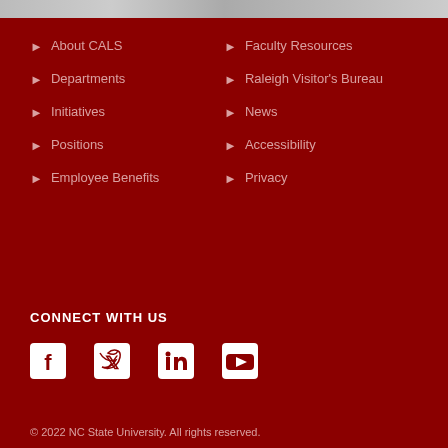[Figure (photo): Partial image at top of page]
About CALS
Departments
Initiatives
Positions
Employee Benefits
Faculty Resources
Raleigh Visitor's Bureau
News
Accessibility
Privacy
CONNECT WITH US
[Figure (infographic): Social media icons: Facebook, Twitter, LinkedIn, YouTube]
© 2022 NC State University. All rights reserved.